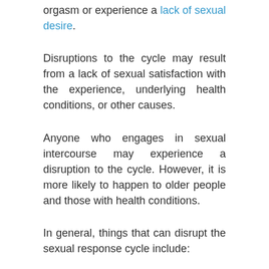orgasm or experience a lack of sexual desire.
Disruptions to the cycle may result from a lack of sexual satisfaction with the experience, underlying health conditions, or other causes.
Anyone who engages in sexual intercourse may experience a disruption to the cycle. However, it is more likely to happen to older people and those with health conditions.
In general, things that can disrupt the sexual response cycle include: